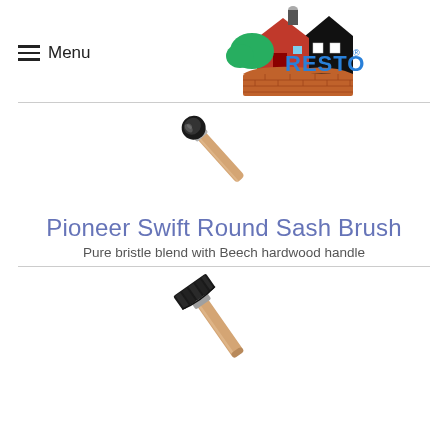Menu | RESTO logo
[Figure (photo): Round sash paintbrush with wooden handle, angled diagonally, bristles at top-left]
Pioneer Swift Round Sash Brush
Pure bristle blend with Beech hardwood handle
[Figure (photo): Flat paintbrush with dark bristles and light wooden handle, angled diagonally]